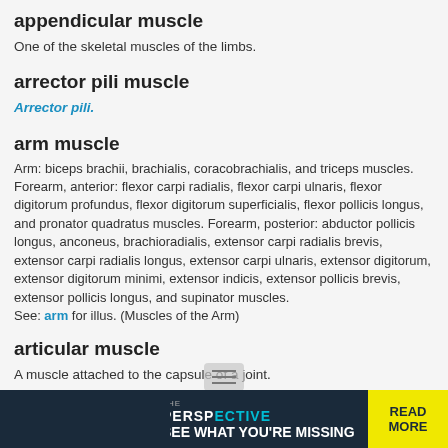appendicular muscle
One of the skeletal muscles of the limbs.
arrector pili muscle
Arrector pili.
arm muscle
Arm: biceps brachii, brachialis, coracobrachialis, and triceps muscles. Forearm, anterior: flexor carpi radialis, flexor carpi ulnaris, flexor digitorum profundus, flexor digitorum superficialis, flexor pollicis longus, and pronator quadratus muscles. Forearm, posterior: abductor pollicis longus, anconeus, brachioradialis, extensor carpi radialis brevis, extensor carpi radialis longus, extensor carpi ulnaris, extensor digitorum, extensor digitorum minimi, extensor indicis, extensor pollicis brevis, extensor pollicis longus, and supinator muscles. See: arm for illus. (Muscles of the Arm)
articular muscle
A muscle attached to the capsule of a joint.